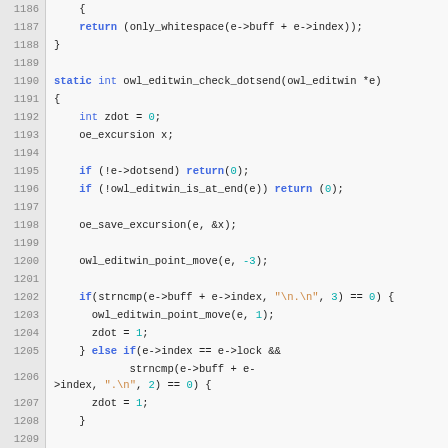[Figure (screenshot): Source code listing in a code editor showing C function owl_editwin_check_dotsend, lines 1186-1218, with line numbers on the left gutter in a grey background and syntax highlighting]